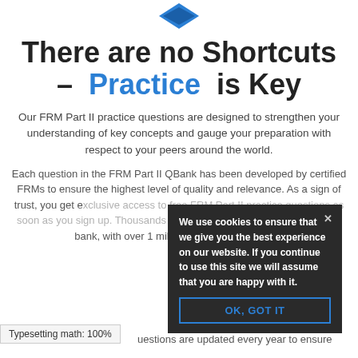[Figure (logo): Blue diamond/shield logo partially visible at top center]
There are no Shortcuts – Practice is Key
Our FRM Part II practice questions are designed to strengthen your understanding of key concepts and gauge your preparation with respect to your peers around the world.
Each question in the FRM Part II QBank has been developed by certified FRMs to ensure the highest level of quality and relevance. As a sign of trust, you get exclusive access to free FRM Part II practice questions as soon as you sign up. Thousands of candidates have used the question bank, with over 1 million questions answered.
We use cookies to ensure that we give you the best experience on our website. If you continue to use this site we will assume that you are happy with it.
OK, GOT IT
Typesetting math: 100%
uestions are updated every year to ensure